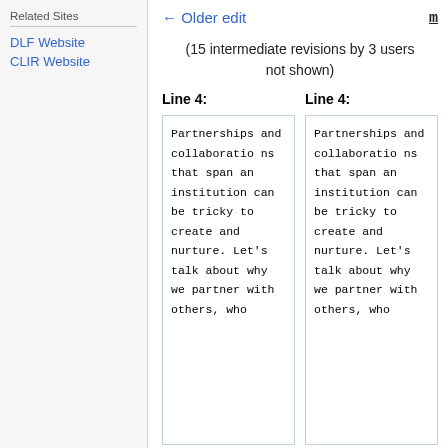Related Sites
DLF Website
CLIR Website
← Older edit
m
(15 intermediate revisions by 3 users not shown)
Line 4:
Line 4:
Partnerships and collaborations that span an institution can be tricky to create and nurture. Let's talk about why we partner with others, who
Partnerships and collaborations that span an institution can be tricky to create and nurture. Let's talk about why we partner with others, who